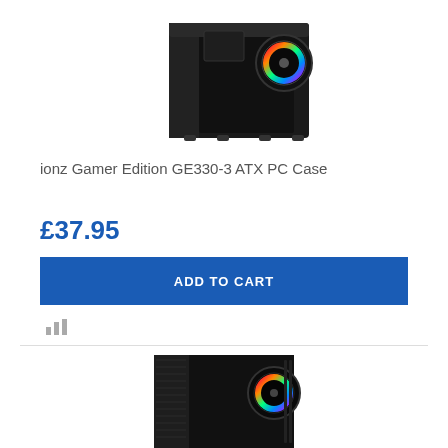[Figure (photo): Black ATX PC case with RGB fan visible on the front, shown from a front-angle view, partially cropped at top]
ionz Gamer Edition GE330-3 ATX PC Case
£37.95
ADD TO CART
[Figure (photo): Black mid-tower ATX PC case with mesh front panel and RGB fan, partially visible from the front-angle, cropped at bottom]